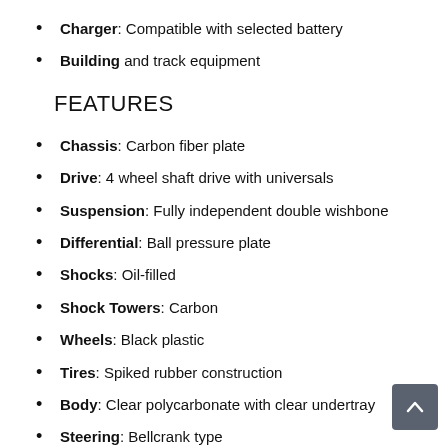Charger: Compatible with selected battery
Building and track equipment
FEATURES
Chassis: Carbon fiber plate
Drive: 4 wheel shaft drive with universals
Suspension: Fully independent double wishbone
Differential: Ball pressure plate
Shocks: Oil-filled
Shock Towers: Carbon
Wheels: Black plastic
Tires: Spiked rubber construction
Body: Clear polycarbonate with clear undertray
Steering: Bellcrank type